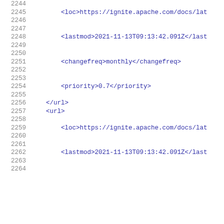2244
2245    <loc>https://ignite.apache.com/docs/lat
2246
2247
2248    <lastmod>2021-11-13T09:13:42.091Z</last
2249
2250
2251    <changefreq>monthly</changefreq>
2252
2253
2254    <priority>0.7</priority>
2255
2256    </url>
2257    <url>
2258
2259    <loc>https://ignite.apache.com/docs/lat
2260
2261
2262    <lastmod>2021-11-13T09:13:42.091Z</last
2263
2264